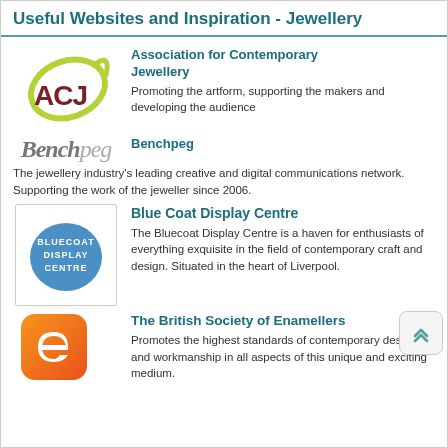Useful Websites and Inspiration - Jewellery
[Figure (logo): ACJ logo - green swoosh around dark red ACJ letters]
Association for Contemporary Jewellery
Promoting the artform, supporting the makers and developing the audience
[Figure (logo): Benchpeg italic text logo in grey]
Benchpeg
The jewellery industry's leading creative and digital communications network. Supporting the work of the jeweller since 2006.
[Figure (logo): Bluecoat Display Centre logo - blue square with white text]
Blue Coat Display Centre
The Bluecoat Display Centre is a haven for enthusiasts of everything exquisite in the field of contemporary craft and design. Situated in the heart of Liverpool.
[Figure (logo): British Society of Enamellers - orange rounded square with white e letter]
The British Society of Enamellers
Promotes the highest standards of contemporary design and workmanship in all aspects of this unique and exciting medium.